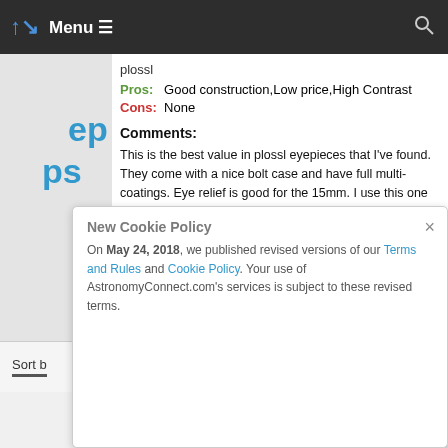Menu
plossl
Pros: Good construction,Low price,High Contrast
Cons: None
Comments:
This is the best value in plossl eyepieces that I've found. They come with a nice bolt case and have full multi-coatings. Eye relief is good for the 15mm. I use this one for my PST and it gives very sharp images of solar prominences and granulation. These are a slight step above the Orion Sirius and Celestron plossls that I've used, and at a better price!
BOTTOM LINE: Would you recommend this item? Yes
Was this review helpful? Yes / No
This review was provided courtesy of AgenaAstro.com
Sort b
New Cookie Policy
On May 24, 2018, we published revised versions of our Terms and Rules and Cookie Policy. Your use of AstronomyConnect.com's services is subject to these revised terms.
Next